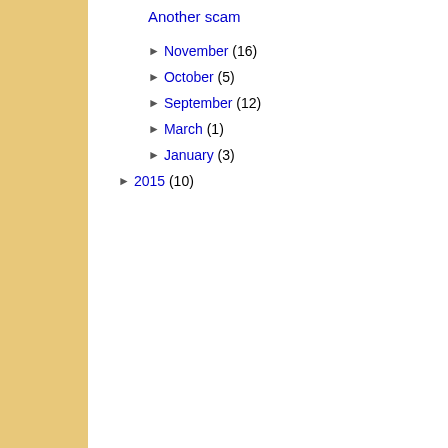Another scam
► November (16)
► October (5)
► September (12)
► March (1)
► January (3)
► 2015 (10)
Sunday, 11 December
Hedge layi…
[Figure (photo): Blog post image placeholder (broken image icon)]
Posted by News Edit…
Friday, 9 December 2…